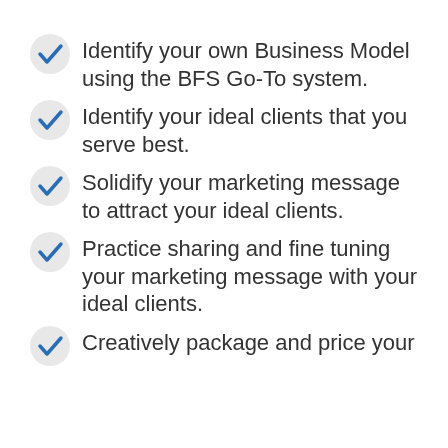Identify your own Business Model using the BFS Go-To system.
Identify your ideal clients that you serve best.
Solidify your marketing message to attract your ideal clients.
Practice sharing and fine tuning your marketing message with your ideal clients.
Creatively package and price your